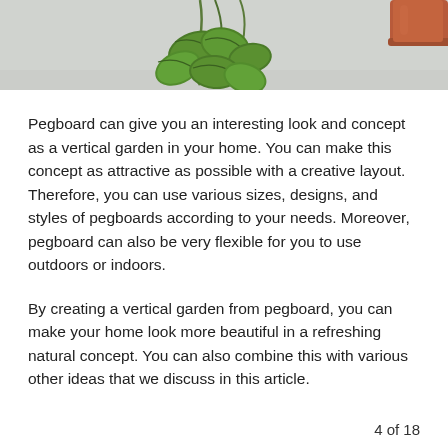[Figure (photo): Cropped photo showing hanging green plant leaves against a light gray/white background, with a partial view of a terracotta/copper-colored pot on the right edge. Only the bottom portion of the image is visible.]
Pegboard can give you an interesting look and concept as a vertical garden in your home. You can make this concept as attractive as possible with a creative layout. Therefore, you can use various sizes, designs, and styles of pegboards according to your needs. Moreover, pegboard can also be very flexible for you to use outdoors or indoors.
By creating a vertical garden from pegboard, you can make your home look more beautiful in a refreshing natural concept. You can also combine this with various other ideas that we discuss in this article.
4 of 18